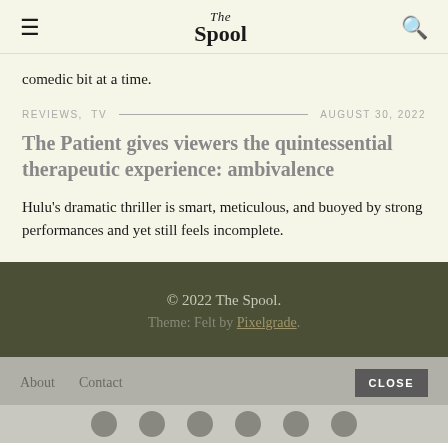The Spool
comedic bit at a time.
REVIEWS,  TV — AUGUST 30, 2022
The Patient gives viewers the quintessential therapeutic experience: ambivalence
Hulu's dramatic thriller is smart, meticulous, and buoyed by strong performances and yet still feels incomplete.
© 2022 The Spool. Theme: Felt by Pixelgrade.
About  Contact  CLOSE